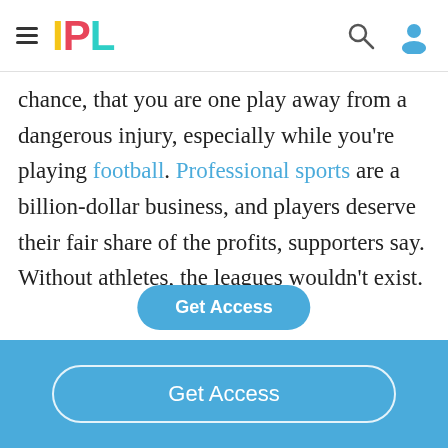IPL
chance, that you are one play away from a dangerous injury, especially while you're playing football. Professional sports are a billion-dollar business, and players deserve their fair share of the profits, supporters say. Without athletes, the leagues wouldn't exist. Teams make their money through ticket sales, viewership, and merchandise sales and then
[Figure (other): Get Access floating button overlay]
Get Access